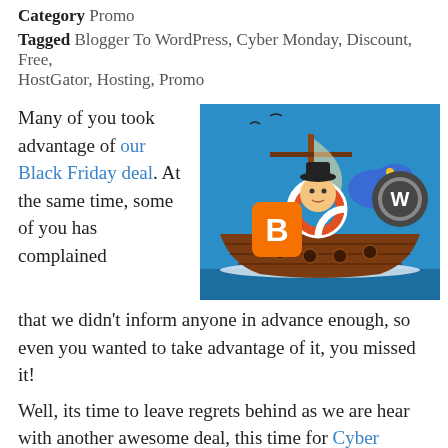Category Promo
Tagged Blogger To WordPress, Cyber Monday, Discount, Free, HostGator, Hosting, Promo
Many of you took advantage of our Black Friday deal. At the same time, some of you has complained that we didn't inform anyone in advance enough, so even you wanted to take advantage of it, you missed it!
[Figure (illustration): Cartoon illustration of a wooden boat with a sailor character holding a Blogger logo, a blue gator mascot, and a WordPress logo ball, set against a blue background.]
Well, its time to leave regrets behind as we are hear with another awesome deal, this time for Cyber Monday.